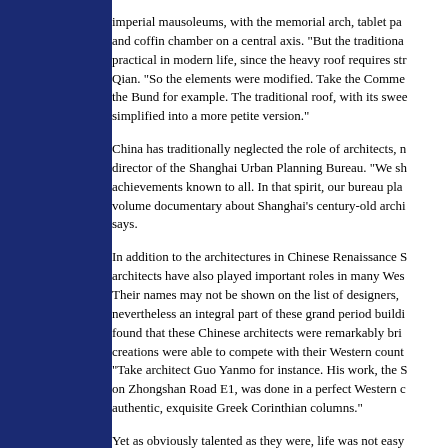imperial mausoleums, with the memorial arch, tablet pa... and coffin chamber on a central axis. "But the traditiona... practical in modern life, since the heavy roof requires str... Qian. "So the elements were modified. Take the Comme... the Bund for example. The traditional roof, with its swee... simplified into a more petite version."

China has traditionally neglected the role of architects, n... director of the Shanghai Urban Planning Bureau. "We sh... achievements known to all. In that spirit, our bureau pla... volume documentary about Shanghai's century-old archi... says.

In addition to the architectures in Chinese Renaissance S... architects have also played important roles in many Wes... Their names may not be shown on the list of designers, ... nevertheless an integral part of these grand period buildi... found that these Chinese architects were remarkably bri... creations were able to compete with their Western count... "Take architect Guo Yanmo for instance. His work, the S... on Zhongshan Road E1, was done in a perfect Western c... authentic, exquisite Greek Corinthian columns."

Yet as obviously talented as they were, life was not easy... in Shanghai during the Concession era. "It' was very diff... architect to find a job at that time. Owners, who were m... preferred foreign architects," he says. "That's why 80 pe... cinemas and theaters were designed by Chinese architec... were run by Chinese." The Majestic Theater by Fan We...